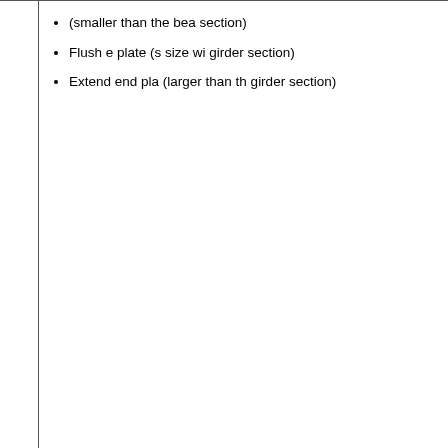| Author | Specifications | Notes |
| --- | --- | --- |
| France, Davison, and Kirby 1999 | 457 x 152 x 52 UB
356 x 171 x 45 UB
254 x 146 x 31 UB
Grade 43 | (smaller than the beam section)
Flush end plate (same size with girder section)
Extended end plate (larger than the girder section) |
| Cheng, Hwang, and Chung 2000 | H-600 x 200 x 11 x 17
Fy=44.67 (flange), 47.57 (web) | Through diaphragm plates with 3.94 in opening at the mid
External diaphragm |